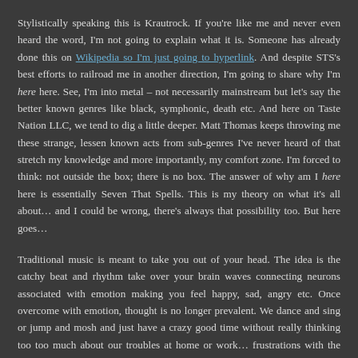Stylistically speaking this is Krautrock. If you're like me and never even heard the word, I'm not going to explain what it is. Someone has already done this on Wikipedia so I'm just going to hyperlink. And despite STS's best efforts to railroad me in another direction, I'm going to share why I'm here here. See, I'm into metal – not necessarily mainstream but let's say the better known genres like black, symphonic, death etc. And here on Taste Nation LLC, we tend to dig a little deeper. Matt Thomas keeps throwing me these strange, lessen known acts from sub-genres I've never heard of that stretch my knowledge and more importantly, my comfort zone. I'm forced to think: not outside the box; there is no box. The answer of why am I here here is essentially Seven That Spells. This is my theory on what it's all about… and I could be wrong, there's always that possibility too. But here goes…
Traditional music is meant to take you out of your head. The idea is the catchy beat and rhythm take over your brain waves connecting neurons associated with emotion making you feel happy, sad, angry etc. Once overcome with emotion, thought is no longer prevalent. We dance and sing or jump and mosh and just have a crazy good time without really thinking too too much about our troubles at home or work… frustrations with the significant other… kids struggling in school… fuck I think I need to get the brakes done… my boss wants me to do all the work while Dave jerks off is